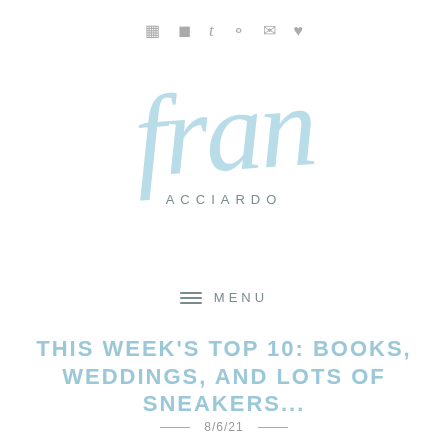Social media icons: Instagram, YouTube, Tumblr, Pinterest, Email, Heart
fran ACCIARDO
≡ MENU
THIS WEEK'S TOP 10: BOOKS, WEDDINGS, AND LOTS OF SNEAKERS...
8/6/21